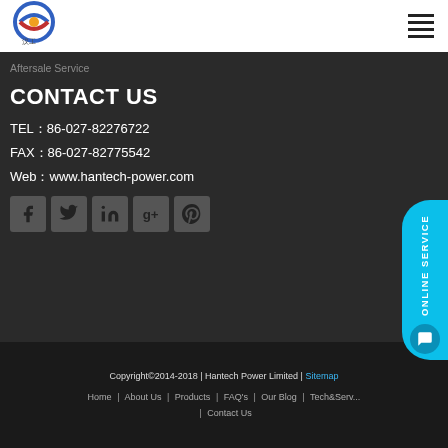[Figure (logo): Hantech Power company logo - circular design with red, blue and orange colors, with Chinese characters below]
Aftersale Service
CONTACT US
TEL：86-027-82276722
FAX：86-027-82775542
Web：www.hantech-power.com
[Figure (infographic): Social media icon row: Facebook, Twitter, LinkedIn, Google+, Pinterest]
Copyright©2014-2018 | Hantech Power Limited | Sitemap
Home | About Us | Products | FAQ's | Our Blog | Tech&Serv... | Contact Us